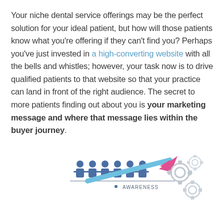Your niche dental service offerings may be the perfect solution for your ideal patient, but how will those patients know what you're offering if they can't find you? Perhaps you've just invested in a high-converting website with all the bells and whistles; however, your task now is to drive qualified patients to that website so that your practice can land in front of the right audience. The secret to more patients finding out about you is your marketing message and where that message lies within the buyer journey.
[Figure (infographic): Infographic showing people icons in a row above a label 'AWARENESS', with a light blue upward arrow and grey gear icons to the right, suggesting a buyer journey funnel starting from awareness.]